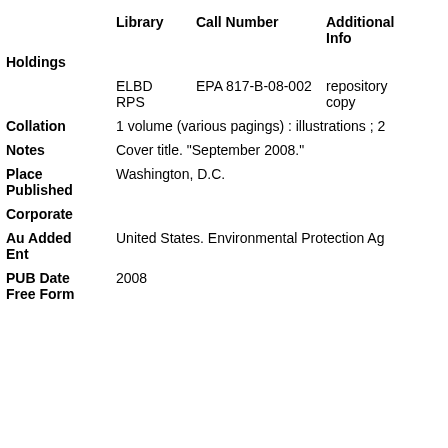|  | Library | Call Number | Additional Info |
| --- | --- | --- | --- |
| Holdings |  |  |  |
|  | ELBD RPS | EPA 817-B-08-002 | repository copy |
| Collation | 1 volume (various pagings) : illustrations ; 2 |  |  |
| Notes | Cover title. "September 2008." |  |  |
| Place Published | Washington, D.C. |  |  |
| Corporate Au Added Ent | United States. Environmental Protection Ag |  |  |
| PUB Date Free Form | 2008 |  |  |